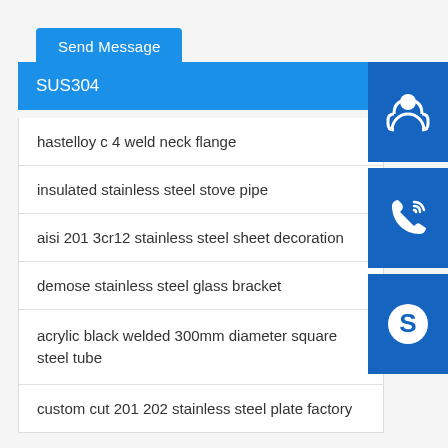Send Message
SUS304
hastelloy c 4 weld neck flange
insulated stainless steel stove pipe
aisi 201 3cr12 stainless steel sheet decoration
demose stainless steel glass bracket
acrylic black welded 300mm diameter square steel tube
custom cut 201 202 stainless steel plate factory